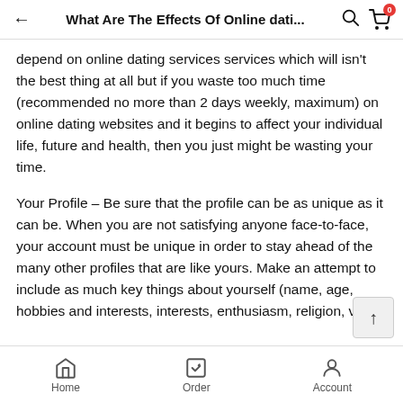What Are The Effects Of Online dati…
depend on online dating services services which will isn't the best thing at all but if you waste too much time (recommended no more than 2 days weekly, maximum) on online dating websites and it begins to affect your individual life, future and health, then you just might be wasting your time.
Your Profile – Be sure that the profile can be as unique as it can be. When you are not satisfying anyone face-to-face, your account must be unique in order to stay ahead of the many other profiles that are like yours. Make an attempt to include as much key things about yourself (name, age, hobbies and interests, interests, enthusiasm, religion, video references, excess weight, height, education, persona health, et cetera). The more details you can provide the
Home   Order   Account